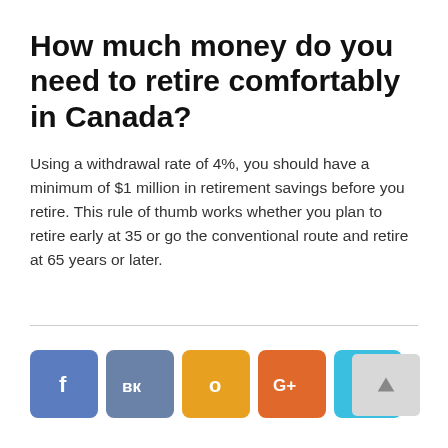How much money do you need to retire comfortably in Canada?
Using a withdrawal rate of 4%, you should have a minimum of $1 million in retirement savings before you retire. This rule of thumb works whether you plan to retire early at 35 or go the conventional route and retire at 65 years or later.
[Figure (other): Social media sharing buttons: Facebook (blue), VK (steel blue), Odnoklassniki (orange/yellow), Google+ (orange), Twitter (cyan), and a scroll-to-top arrow button (gray)]